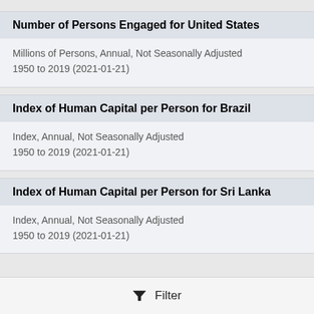Number of Persons Engaged for United States
Millions of Persons, Annual, Not Seasonally Adjusted
1950 to 2019 (2021-01-21)
Index of Human Capital per Person for Brazil
Index, Annual, Not Seasonally Adjusted
1950 to 2019 (2021-01-21)
Index of Human Capital per Person for Sri Lanka
Index, Annual, Not Seasonally Adjusted
1950 to 2019 (2021-01-21)
Filter